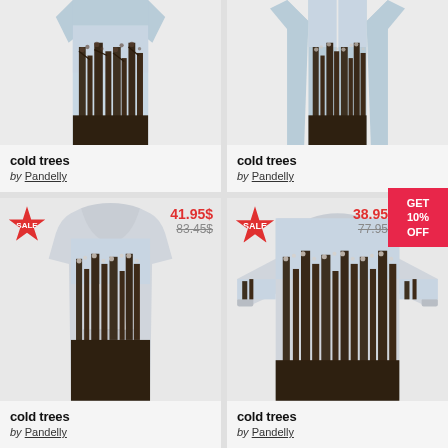[Figure (photo): Product image of a 3D-shirt/jacket with cold trees forest photo print, partially visible top half]
cold trees
by Pandelly
[Figure (photo): Product image of a cardigan/zip-up with cold trees forest photo print, partially visible top half]
cold trees
by Pandelly
[Figure (photo): Product image of a hoodie with cold trees forest photo print, SALE badge, price 41.95$ sale from 83.45$]
41.95$
83.45$
cold trees
by Pandelly
[Figure (photo): Product image of a long-sleeve sweatshirt with cold trees forest photo print, SALE badge, price 38.95 sale from 77.95]
38.95
77.95
GET 10% OFF
cold trees
by Pandelly